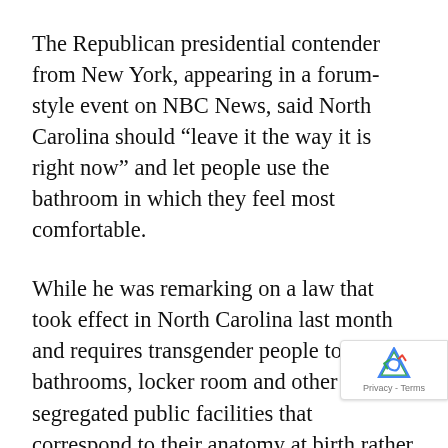The Republican presidential contender from New York, appearing in a forum-style event on NBC News, said North Carolina should “leave it the way it is right now” and let people use the bathroom in which they feel most comfortable.
While he was remarking on a law that took effect in North Carolina last month and requires transgender people to use bathrooms, locker room and other sex-segregated public facilities that correspond to their anatomy at birth rather than their gender identity, Trump’s comments were widely reported as opposed to the recently enacted law. The law overrode and bars municipal ordinances that had been allowing transgender people to use facilities corresponding to their gender identity.